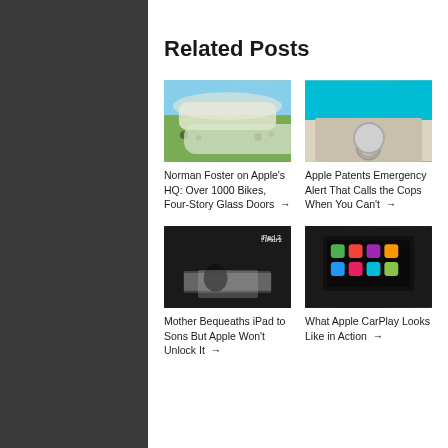Related Posts
[Figure (photo): Aerial rendering of Apple's new circular campus building with people on lawn and trees]
Norman Foster on Apple's HQ: Over 1000 Bikes, Four-Story Glass Doors →
[Figure (photo): Close-up of iPhone showing home button and bottom edge of device]
Apple Patents Emergency Alert That Calls the Cops When You Can't →
[Figure (photo): Silhouette of person standing in front of large iPad 2 display at event]
Mother Bequeaths iPad to Sons But Apple Won't Unlock It →
[Figure (photo): Car dashboard showing Apple CarPlay interface with colorful app icons]
What Apple CarPlay Looks Like in Action →